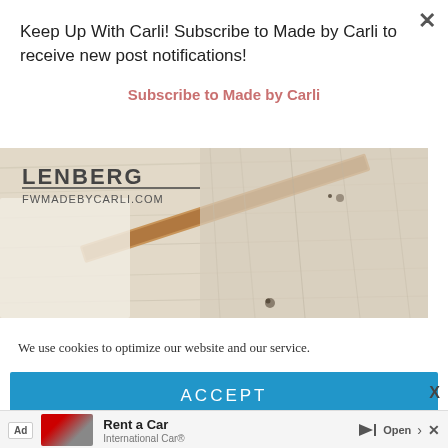Keep Up With Carli! Subscribe to Made by Carli to receive new post notifications!
Subscribe to Made by Carli
[Figure (photo): Close-up photo of wood/furniture pieces on a light-colored surface, with watermark text 'LENBERG' and 'FWMADEBYCARLI.COM']
We use cookies to optimize our website and our service.
ACCEPT
Ad  Rent a Car  International Car®  Open